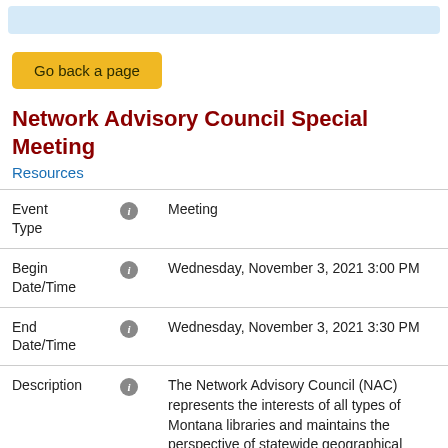[Figure (other): Light blue decorative bar at top of page]
Go back a page
Network Advisory Council Special Meeting
Resources
| Field | Icon | Value |
| --- | --- | --- |
| Event Type | i | Meeting |
| Begin Date/Time | i | Wednesday, November 3, 2021 3:00 PM |
| End Date/Time | i | Wednesday, November 3, 2021 3:30 PM |
| Description | i | The Network Advisory Council (NAC) represents the interests of all types of Montana libraries and maintains the perspective of statewide geographical balance as it explores ways to help |